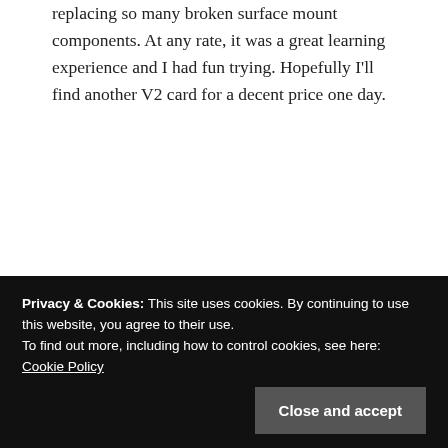replacing so many broken surface mount components. At any rate, it was a great learning experience and I had fun trying. Hopefully I'll find another V2 card for a decent price one day.
Reply
tkrn
September 5, 2021 at 9:22 pm
Privacy & Cookies: This site uses cookies. By continuing to use this website, you agree to their use.
To find out more, including how to control cookies, see here: Cookie Policy
Close and accept